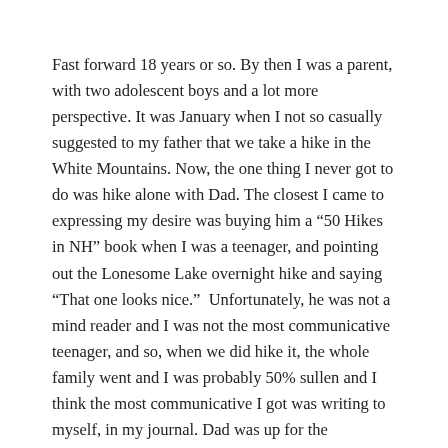Fast forward 18 years or so. By then I was a parent, with two adolescent boys and a lot more perspective. It was January when I not so casually suggested to my father that we take a hike in the White Mountains. Now, the one thing I never got to do was hike alone with Dad. The closest I came to expressing my desire was buying him a “50 Hikes in NH” book when I was a teenager, and pointing out the Lonesome Lake overnight hike and saying “That one looks nice.”  Unfortunately, he was not a mind reader and I was not the most communicative teenager, and so, when we did hike it, the whole family went and I was probably 50% sullen and I think the most communicative I got was writing to myself, in my journal. Dad was up for the challenge, and we decided to go up Mt. Lafayette in July, hike up ,stay at Greenleaf Hut, then take the Franconia Loop Ridge Trail, and the Bridal Veil Falls trail down on our way out. I remember Dad looking me in the eye